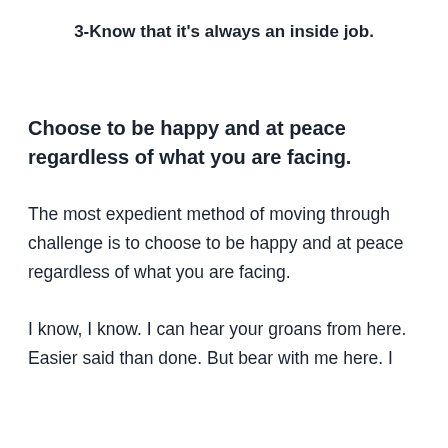3-Know that it's always an inside job.
Choose to be happy and at peace regardless of what you are facing.
The most expedient method of moving through challenge is to choose to be happy and at peace regardless of what you are facing.
I know, I know. I can hear your groans from here. Easier said than done. But bear with me here. I